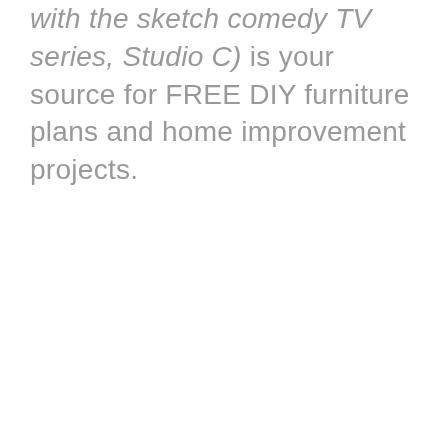with the sketch comedy TV series, Studio C) is your source for FREE DIY furniture plans and home improvement projects.